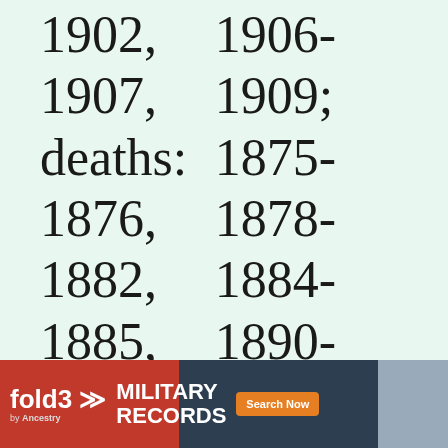1902, 1906- 1907, 1909; deaths: 1875- 1876, 1878- 1882, 1884- 1885, 1890- 1891, 1893, 1895, 1898,
[Figure (other): fold3 by Ancestry advertisement banner for Military Records with Search Now button and soldier photo]